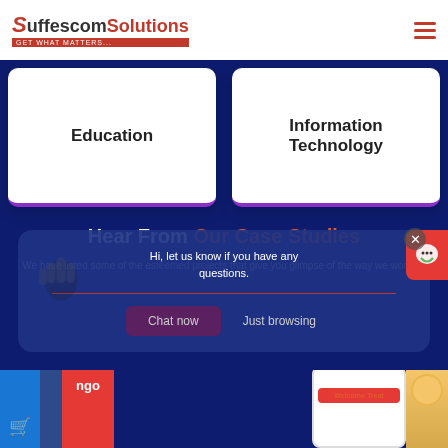Suffescom Solutions — GET WHAT MATTERS...
Education
Information Technology
Hear From Our Case Studies
We have listed some of the esteemed projects that give you glimpse of the way we worked;
Hi, let us know if you have any questions.
Chat now
Just browsing
[Figure (screenshot): Bottom strip showing app screenshots including a mobile app with Welcome Treat text, a person in red hard hat, and a smiling woman on the right]
Write a message...
Welcome Treat